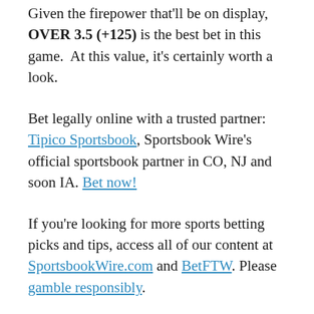Given the firepower that'll be on display, OVER 3.5 (+125) is the best bet in this game.  At this value, it's certainly worth a look.
Bet legally online with a trusted partner: Tipico Sportsbook, Sportsbook Wire's official sportsbook partner in CO, NJ and soon IA. Bet now!
If you're looking for more sports betting picks and tips, access all of our content at SportsbookWire.com and BetFTW. Please gamble responsibly.
Follow @nathanbeighle_ on Twitter. Follow @SportsbookWire on Twitter and like us on Facebook.